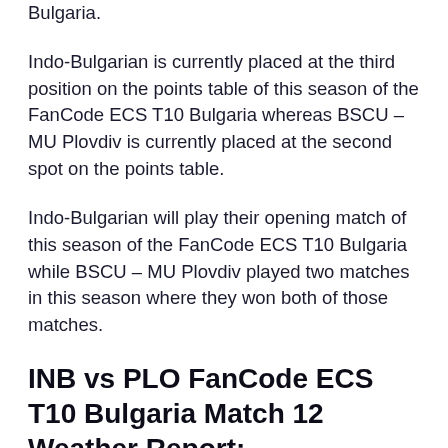Bulgaria.
Indo-Bulgarian is currently placed at the third position on the points table of this season of the FanCode ECS T10 Bulgaria whereas BSCU – MU Plovdiv is currently placed at the second spot on the points table.
Indo-Bulgarian will play their opening match of this season of the FanCode ECS T10 Bulgaria while BSCU – MU Plovdiv played two matches in this season where they won both of those matches.
INB vs PLO FanCode ECS T10 Bulgaria Match 12 Weather Report: